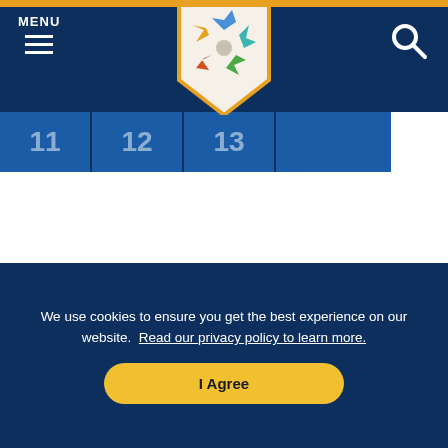[Figure (screenshot): Website navigation bar with navy background, MENU label and hamburger icon on the left, a colorful star/pinwheel logo in a shield shape in the center, and a search icon on the right. Below the nav bar are calendar date tabs showing numbers 11, 12, 13.]
A SPECIAL THANKS TO OUR ADVERTISERS
[Figure (screenshot): Partial advertisement banner with orange and blue gradient colors, with an X close button in the top right corner.]
We use cookies to ensure you get the best experience on our website. Read our privacy policy to learn more.
I Agree